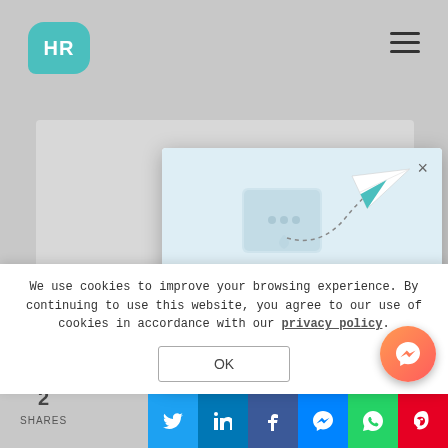[Figure (screenshot): HR website with logo top left showing 'HR' text in teal cloud shape, hamburger menu top right, grey article area background]
[Figure (illustration): Newsletter signup modal with paper airplane illustration on light blue background, email input field. Title: 'Get the latest HR industry news!']
Get the latest HR industry news!
Your Email*
We use cookies to improve your browsing experience. By continuing to use this website, you agree to our use of cookies in accordance with our privacy policy.
OK
2 SHARES